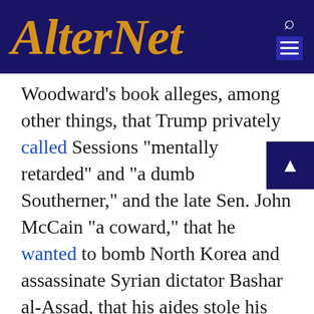AlterNet
Woodward's book alleges, among other things, that Trump privately called Sessions "mentally retarded" and "a dumb Southerner," and the late Sen. John McCain "a coward," that he wanted to bomb North Korea and assassinate Syrian dictator Bashar al-Assad, that his aides stole his papers "to protect the country," and that he continually frustrated his own lawyers while trying to prep for a possible interview with Special Counsel Robert Mueller as part of the Russia investigation. The book is slated to be